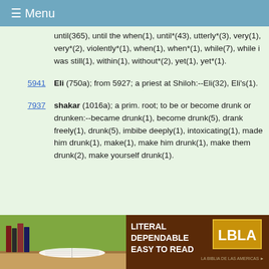≡ Menu
until(365), until the when(1), until*(43), utterly*(3), very(1), very*(2), violently*(1), when(1), when*(1), while(7), while i was still(1), within(1), without*(2), yet(1), yet*(1).
5941 Eli (750a); from 5927; a priest at Shiloh:--Eli(32), Eli's(1).
7937 shakar (1016a); a prim. root; to be or become drunk or drunken:--became drunk(1), become drunk(5), drank freely(1), drunk(5), imbibe deeply(1), intoxicating(1), made him drunk(1), make(1), make him drunk(1), make them drunk(2), make yourself drunk(1).
[Figure (photo): Advertisement banner for LBLA (La Biblia de las Americas) Bible translation showing books and an open Bible on a green background with text LITERAL DEPENDABLE EASY TO READ and LBLA logo]